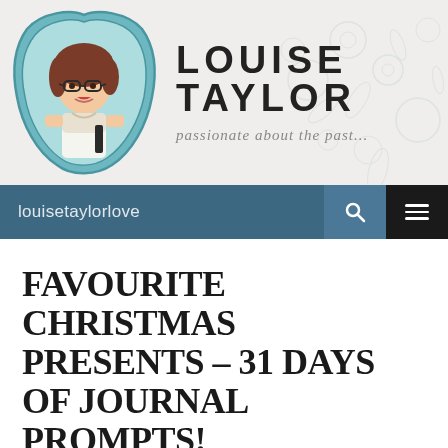[Figure (illustration): Blog header banner for Louise Taylor blog. Features an illustrated cartoon woman with brown hair and glasses on the left inside a decorative teal ornate frame, and the blog title 'LOUISE TAYLOR' in large bold letters with tagline 'passionate about the past...' in italic script. Background has faint floral/lace pattern.]
louisetaylorlove
FAVOURITE CHRISTMAS PRESENTS – 31 DAYS OF JOURNAL PROMPTS!
DECEMBER 25, 2016   LOUISE TAYLOR   LEAVE A COMMENT
You know, the older I get, the more I understand the adage of it being better to give than receive. I really get a kick out of watching the faces of the people I give presents to when they learn what